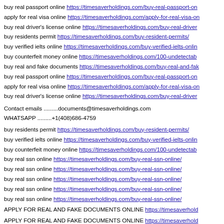buy real passport online https://timesaverholdings.com/buy-real-passport-on
apply for real visa online https://timesaverholdings.com/apply-for-real-visa-on
buy real driver's license online https://timesaverholdings.com/buy-real-driver
buy residents permit https://timesaverholdings.com/buy-resident-permits/
buy verified ielts online https://timesaverholdings.com/buy-verified-ielts-onlin
buy counterfeit money online https://timesaverholdings.com/100-undetectab
buy real and fake documents https://timesaverholdings.com/buy-real-and-fak
buy real passport online https://timesaverholdings.com/buy-real-passport-on
apply for real visa online https://timesaverholdings.com/apply-for-real-visa-on
buy real driver's license online https://timesaverholdings.com/buy-real-driver
Contact emails .........documents@timesaverholdings.com
WHATSAPP .........+1(408)686-4759
buy residents permit https://timesaverholdings.com/buy-resident-permits/
buy verified ielts online https://timesaverholdings.com/buy-verified-ielts-onlin
buy counterfeit money online https://timesaverholdings.com/100-undetectab
buy real ssn online https://timesaverholdings.com/buy-real-ssn-online/
buy real ssn online https://timesaverholdings.com/buy-real-ssn-online/
buy real ssn online https://timesaverholdings.com/buy-real-ssn-online/
buy real ssn online https://timesaverholdings.com/buy-real-ssn-online/
buy real ssn online https://timesaverholdings.com/buy-real-ssn-online/
APPLY FOR REAL AND FAKE DOCUMENTS ONLINE https://timesaverhold
APPLY FOR REAL AND FAKE DOCUMENTS ONLINE https://timesaverhold
APPLY FOR REGISTERED DOCUMENTS ONLINE https://timesaverholding
APPLY FOR REAL DRIVERS LICENSE ONLINE https://timesaverholdings.c
APPLY FOR REAL ID CARDS ONLINE https://timesaverholdings.com/
APPLY FOR US DRIVER'S LICENSE https://timesaverholdings.com/
APPLY FOR REAL AND FAKE DRIVER'S LICENSE https://timesaverhold
APPLY FOR SSN ONLINE https://timesaverholdings.com/